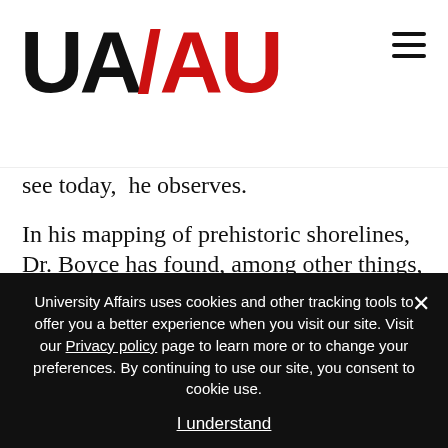UA/AU logo and navigation
see today,  he observes.
In his mapping of prehistoric shorelines, Dr. Boyce has found, among other things, a place where tools for hunting were made and sharpened more than 9,000 years ago. “With the advent of AUVs, we can now launch squads of these robots, working in tandem, mapping the sea floor. It’s a revolution,” he says, adding, “The biggest area for archaeological potential is underwater, and the
University Affairs uses cookies and other tracking tools to offer you a better experience when you visit our site. Visit our Privacy policy page to learn more or to change your preferences. By continuing to use our site, you consent to cookie use.
I understand